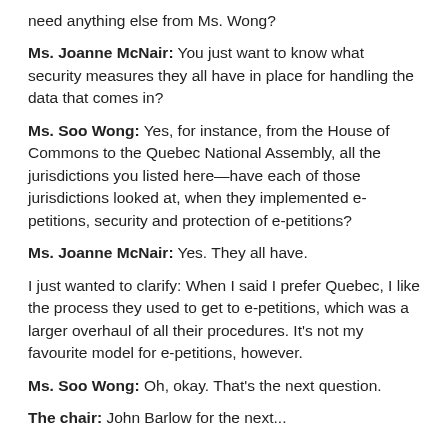need anything else from Ms. Wong?
Ms. Joanne McNair: You just want to know what security measures they all have in place for handling the data that comes in?
Ms. Soo Wong: Yes, for instance, from the House of Commons to the Quebec National Assembly, all the jurisdictions you listed here—have each of those jurisdictions looked at, when they implemented e-petitions, security and protection of e-petitions?
Ms. Joanne McNair: Yes. They all have.
I just wanted to clarify: When I said I prefer Quebec, I like the process they used to get to e-petitions, which was a larger overhaul of all their procedures. It's not my favourite model for e-petitions, however.
Ms. Soo Wong: Oh, okay. That's the next question.
The chair: John Barlow for the next...